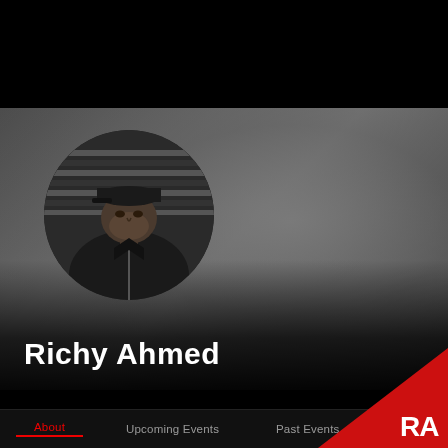[Figure (photo): Black and white circular profile photo of Richy Ahmed wearing a cap and jacket, looking upward to the left, against a striped background]
Richy Ahmed
[Figure (logo): RA (Resident Advisor) logo in white on a red triangular background in the bottom-right corner]
About   Upcoming Events   Past Events